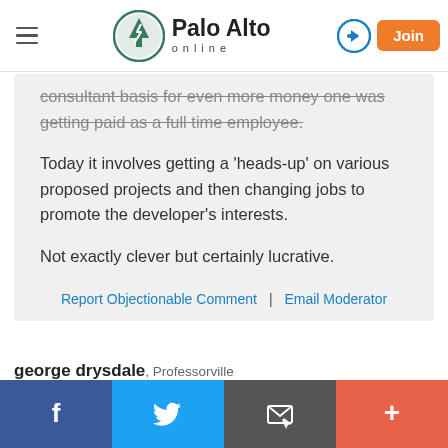Palo Alto online — nav bar with hamburger menu, logo, login icon, Join button
consultant basis for even more money one was getting paid as a full time employee.
Today it involves getting a 'heads-up' on various proposed projects and then changing jobs to promote the developer's interests.
Not exactly clever but certainly lucrative.
Report Objectionable Comment  |  Email Moderator
george drysdale, Professorville
on Dec 13, 2018 at 9:28 am
The President hotel belongs to the owners.
Facebook | Twitter | Email | +